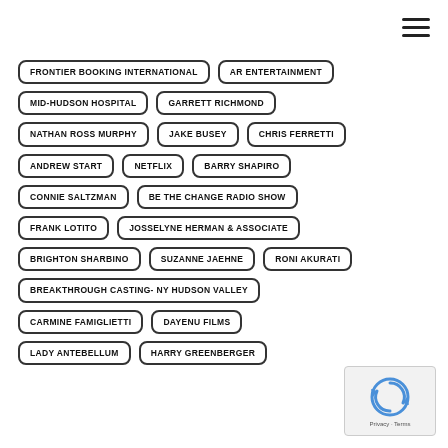FRONTIER BOOKING INTERNATIONAL
AR ENTERTAINMENT
MID-HUDSON HOSPITAL
GARRETT RICHMOND
NATHAN ROSS MURPHY
JAKE BUSEY
CHRIS FERRETTI
ANDREW START
NETFLIX
BARRY SHAPIRO
CONNIE SALTZMAN
BE THE CHANGE RADIO SHOW
FRANK LOTITO
JOSSELYNE HERMAN & ASSOCIATE
BRIGHTON SHARBINO
SUZANNE JAEHNE
RONI AKURATI
BREAKTHROUGH CASTING- NY HUDSON VALLEY
CARMINE FAMIGLIETTI
DAYENU FILMS
LADY ANTEBELLUM
HARRY GREENBERGER